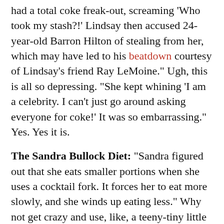had a total coke freak-out, screaming 'Who took my stash?!' Lindsay then accused 24-year-old Barron Hilton of stealing from her, which may have led to his beatdown courtesy of Lindsay's friend Ray LeMoine." Ugh, this is all so depressing. "She kept whining 'I am a celebrity. I can't just go around asking everyone for coke!' It was so embarrassing." Yes. Yes it is.
The Sandra Bullock Diet: "Sandra figured out that she eats smaller portions when she uses a cocktail fork. It forces her to eat more slowly, and she winds up eating less." Why not get crazy and use, like, a teeny-tiny little spoon?
Charlize Theron & Sean Penn: This is still happening. "The man who once dumped bombshell Scarlett Johansson in favor of single life and recently hooked up with ex-wife Madonna has fallen head over heels for Charlize Theron."